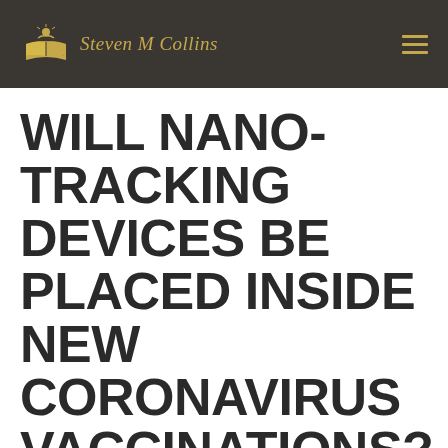Steven M Collins
WILL NANO-TRACKING DEVICES BE PLACED INSIDE NEW CORONAVIRUS VACCINATIONS?
by Steven M. Collins | May 22, 2020 | Gog Magog